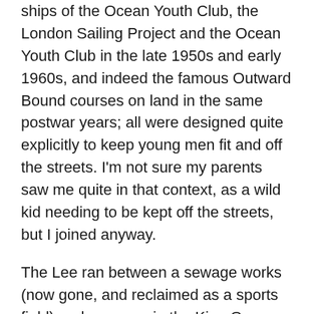ships of the Ocean Youth Club, the London Sailing Project and the Ocean Youth Club in the late 1950s and early 1960s, and indeed the famous Outward Bound courses on land in the same postwar years; all were designed quite explicitly to keep young men fit and off the streets. I'm not sure my parents saw me quite in that context, as a wild kid needing to be kept off the streets, but I joined anyway.
The Lee ran between a sewage works (now gone, and reclaimed as a sports field) and a reservoir, the King George V. We had a tiny clubhouse with bunk beds for overnight stays and a room to make tea and sandwiches.  We certainly learnt to tack our boats efficiently, because it was rare that the wind was in the right direction to sail a straight line up and down our narrow 1 mile stretch of water